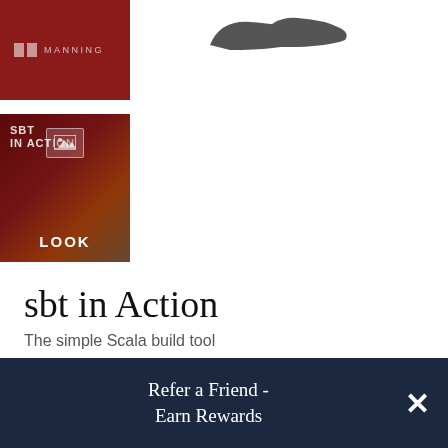[Figure (photo): Manning publisher logo on dark red background book cover top portion]
[Figure (photo): Gray shoes/sneakers image partially visible at top right]
[Figure (photo): Book cover for 'sbt in Action' showing colorful figure, with image icon and LOOK label overlay]
sbt in Action
The simple Scala build tool
By Josh Suereth and Matthew Farwell
Published by Manning
Refer a Friend - Earn Rewards